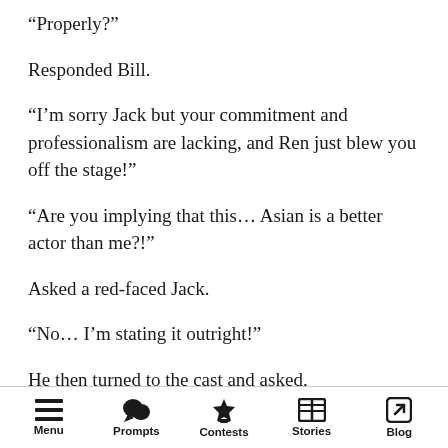“Properly?”
Responded Bill.
“I’m sorry Jack but your commitment and professionalism are lacking, and Ren just blew you off the stage!”
“Are you implying that this… Asian is a better actor than me?!”
Asked a red-faced Jack.
“No… I’m stating it outright!”
He then turned to the cast and asked,
Menu  Prompts  Contests  Stories  Blog